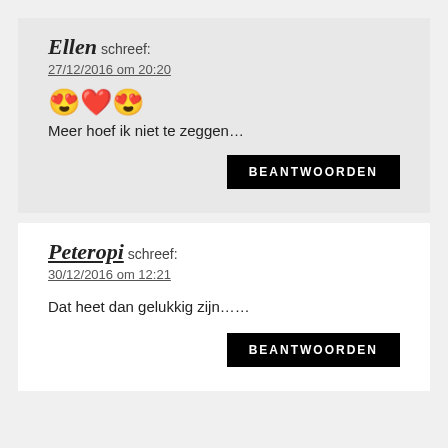Ellen schreef:
27/12/2016 om 20:20
😍❤️😍
Meer hoef ik niet te zeggen…
BEANTWOORDEN
Peteropi schreef:
30/12/2016 om 12:21
Dat heet dan gelukkig zijn……
BEANTWOORDEN